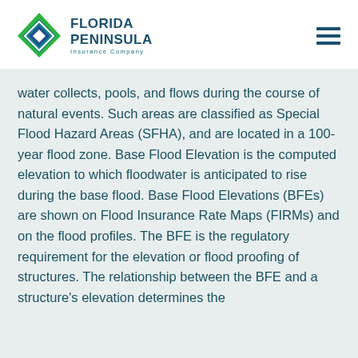[Figure (logo): Florida Peninsula Insurance Company logo with green diamond shape and company name in dark teal]
water collects, pools, and flows during the course of natural events. Such areas are classified as Special Flood Hazard Areas (SFHA), and are located in a 100-year flood zone. Base Flood Elevation is the computed elevation to which floodwater is anticipated to rise during the base flood. Base Flood Elevations (BFEs) are shown on Flood Insurance Rate Maps (FIRMs) and on the flood profiles. The BFE is the regulatory requirement for the elevation or flood proofing of structures. The relationship between the BFE and a structure's elevation determines the